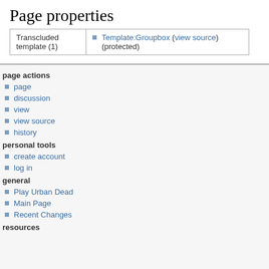Page properties
| Transcluded template (1) |  |
| --- | --- |
| Transcluded template (1) | Template:Groupbox (view source) (protected) |
page actions
page
discussion
view
view source
history
personal tools
create account
log in
general
Play Urban Dead
Main Page
Recent Changes
resources